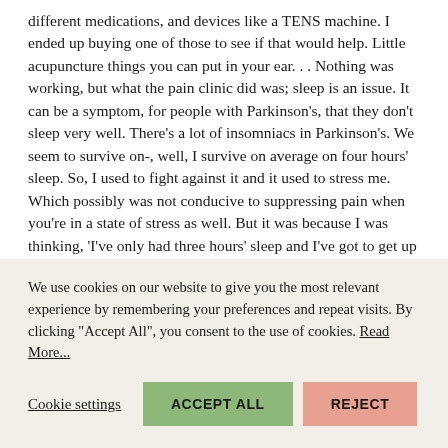different medications, and devices like a TENS machine. I ended up buying one of those to see if that would help. Little acupuncture things you can put in your ear. . . Nothing was working, but what the pain clinic did was; sleep is an issue. It can be a symptom, for people with Parkinson's, that they don't sleep very well. There's a lot of insomniacs in Parkinson's. We seem to survive on-, well, I survive on average on four hours' sleep. So, I used to fight against it and it used to stress me. Which possibly was not conducive to suppressing pain when you're in a state of stress as well. But it was because I was thinking, 'I've only had three hours' sleep and I've got to get up and teach a class of thirty-odd children and cope with this condition'. The sleep clinic had said, they taught you about the sleep patterns. They asked, 'How much sleep do you need?' and we all sort of said 'Seven or eight hours' and
We use cookies on our website to give you the most relevant experience by remembering your preferences and repeat visits. By clicking "Accept All", you consent to the use of cookies. Read More...